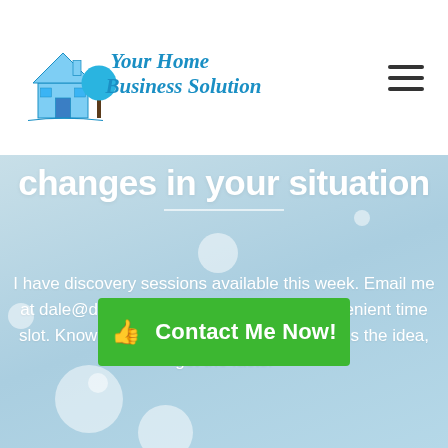[Figure (logo): Your Home Business Solution logo with house and tree icon and script text]
changes in your situation
I have discovery sessions available this week. Email me at dale@dalefolland.com to arrange a convenient time slot. Knowledge is power. Before you dismiss the idea, get the facts.
Contact Me Now!